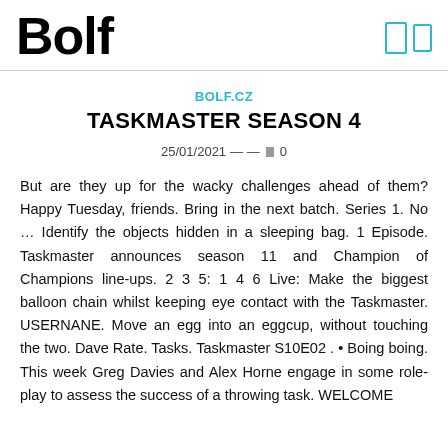BOLF
BOLF.CZ
TASKMASTER SEASON 4
25/01/2021 — — 0
But are they up for the wacky challenges ahead of them? Happy Tuesday, friends. Bring in the next batch. Series 1. No … Identify the objects hidden in a sleeping bag. 1 Episode. Taskmaster announces season 11 and Champion of Champions line-ups. 2 3 5: 1 4 6 Live: Make the biggest balloon chain whilst keeping eye contact with the Taskmaster. USERNANE. Move an egg into an eggcup, without touching the two. Dave Rate. Tasks. Taskmaster S10E02 . • Boing boing. This week Greg Davies and Alex Horne engage in some role-play to assess the success of a throwing task. WELCOME